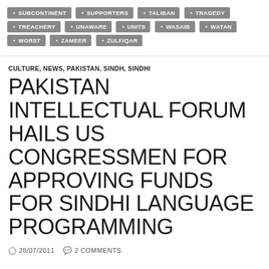SUBCONTINENT, SUPPORTERS, TALIBAN, TRAGEDY, TREACHERY, UNAWARE, UNITS, WASAIB, WATAN, WORST, ZAMEER, ZULFIQAR
CULTURE, NEWS, PAKISTAN, SINDH, SINDHI
PAKISTAN INTELLECTUAL FORUM HAILS US CONGRESSMEN FOR APPROVING FUNDS FOR SINDHI LANGUAGE PROGRAMMING
28/07/2011   2 COMMENTS